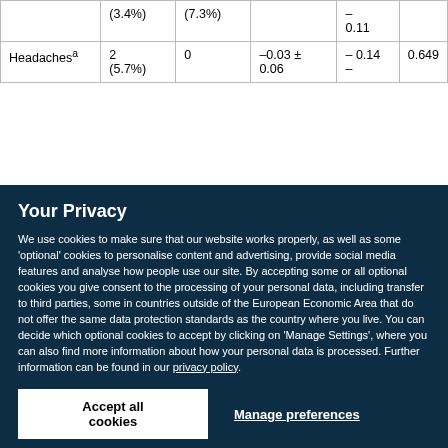|  | (3.4%) | (7.3%) |  | –
0.11 |  |
| Headachesᵃ | 2
(5.7%) | 0 | –0.03 ± 0.06 | – 0.14
– | 0.649 |
Your Privacy
We use cookies to make sure that our website works properly, as well as some 'optional' cookies to personalise content and advertising, provide social media features and analyse how people use our site. By accepting some or all optional cookies you give consent to the processing of your personal data, including transfer to third parties, some in countries outside of the European Economic Area that do not offer the same data protection standards as the country where you live. You can decide which optional cookies to accept by clicking on 'Manage Settings', where you can also find more information about how your personal data is processed. Further information can be found in our privacy policy.
Accept all cookies
Manage preferences